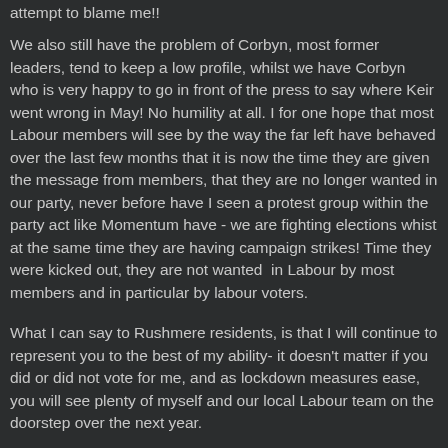attempt to blame me!!
We also still have the problem of Corbyn, most former leaders, tend to keep a low profile, whilst we have Corbyn who is very happy to go in front of the press to say where Keir went wrong in May! No humility at all. I for one hope that most Labour members will see by the way the far left have behaved over the last few months that it is now the time they are given the message from members, that they are no longer wanted in our party, never before have I seen a protest group within the party act like Momentum have - we are fighting elections whist at the same time they are having campaign strikes! Time they were kicked out, they are not wanted  in Labour by most members and in particular by labour voters.
What I can say to Rushmere residents, is that I will continue to represent you to the best of my ability- it doesn't matter if you did or did not vote for me, and as lockdown measures ease, you will see plenty of myself and our local Labour team on the doorstep over the next year.